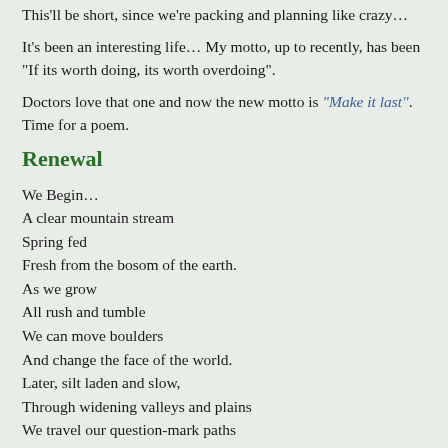This'll be short, since we're packing and planning like crazy…
It's been an interesting life… My motto, up to recently, has been "If its worth doing, its worth overdoing".
Doctors love that one and now the new motto is "Make it last". Time for a poem.
Renewal
We Begin…
A clear mountain stream
Spring fed
Fresh from the bosom of the earth.
As we grow
All rush and tumble
We can move boulders
And change the face of the world.
Later, silt laden and slow,
Through widening valleys and plains
We travel our question-mark paths
And at last
We merge with the ocean for a time
Only to be distilled by the sun
And raised by the clouds
For our return to the earth.